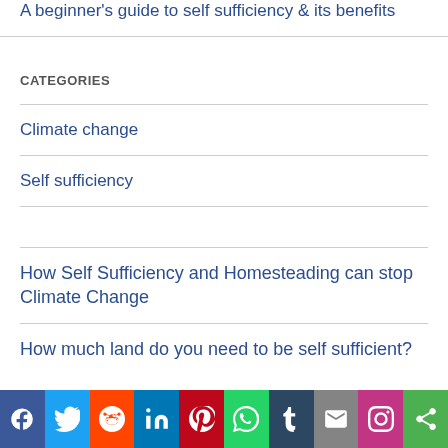A beginner's guide to self sufficiency & its benefits
CATEGORIES
Climate change
Self sufficiency
How Self Sufficiency and Homesteading can stop Climate Change
How much land do you need to be self sufficient?
[Figure (infographic): Social sharing bar with icons for Facebook, Twitter, Reddit, LinkedIn, Pinterest, WhatsApp, Tumblr, Email, Instagram, and Share]